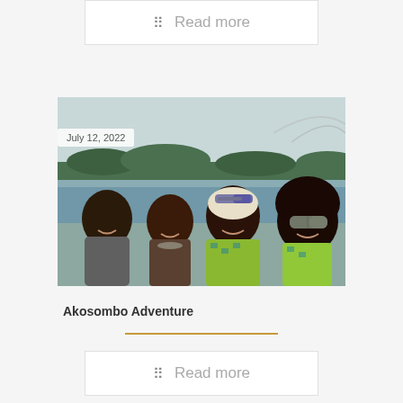Read more
[Figure (photo): Group photo of four people smiling together outdoors near a body of water. Date badge shows July 12, 2022.]
July 12, 2022
Akosombo Adventure
Read more